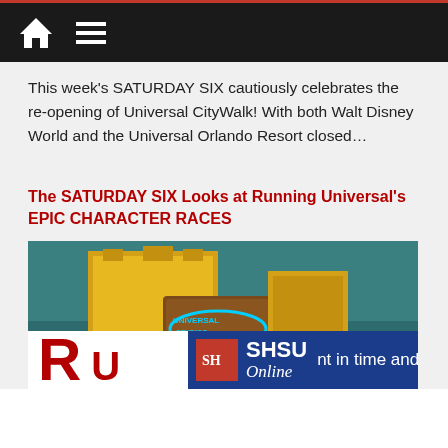Navigation bar with home and menu icons
This week's SATURDAY SIX cautiously celebrates the re-opening of Universal CityWalk! With both Walt Disney World and the Universal Orlando Resort closed…
The SATURDAY SIX Looks at Running Universal's EPIC CHARACTER RACES
[Figure (photo): Photo of Universal Studios building/sign with teal/dark green background, yellow building facade visible]
SHSU Online - nt in time and money!